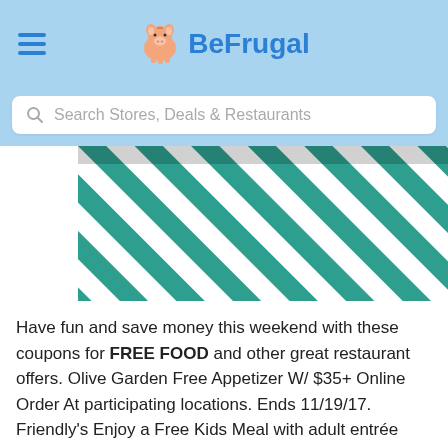BeFrugal
[Figure (screenshot): Search bar with placeholder text 'Search Stores, Deals & Restaurants']
[Figure (photo): Diagonal green and white striped awning pattern]
Have fun and save money this weekend with these coupons for FREE FOOD and other great restaurant offers. Olive Garden Free Appetizer W/ $35+ Online Order At participating locations. Ends 11/19/17. Friendly's Enjoy a Free Kids Meal with adult entrée purchase. At participating locations. Ends 11/23/17. Boston Market Buy 1 Get 1 individual meal & ...
Read more >>